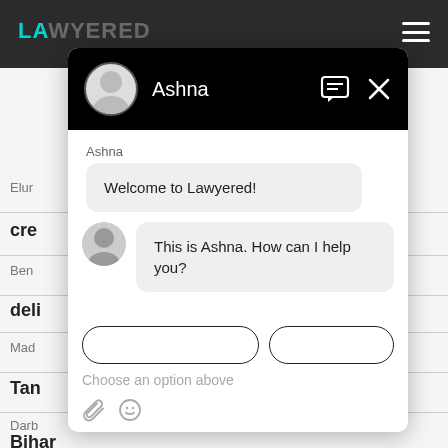[Figure (screenshot): Screenshot of Lawyered website with a chat widget overlay. The background shows the Lawyered website with a dark top navigation bar with the teal/cyan 'LAWYERED' logo and hamburger menu. Partial text snippets are visible including 'Elur', 'cre', 'Ben', 'deli', 'Mad', 'Tan', 'Darb', 'Bihar'. A chat popup from 'Ashna' is overlaid, showing: a black header with avatar and name 'Ashna' and close/chat icons; a message 'Welcome to Lawyered!'; a second message with avatar 'This is Ashna. How can I help you?'; partially visible buttons; a 'Choose an option above' placeholder; and paperclip/emoji icons at the bottom.]